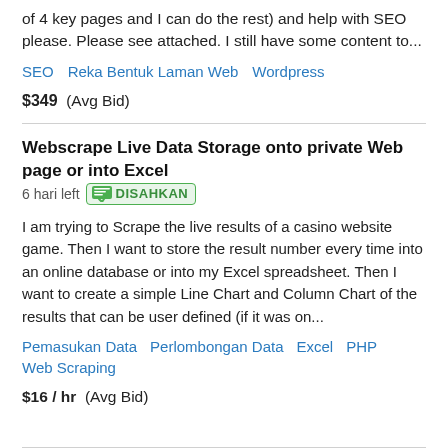of 4 key pages and I can do the rest) and help with SEO please. Please see attached. I still have some content to...
SEO   Reka Bentuk Laman Web   Wordpress
$349  (Avg Bid)
Webscrape Live Data Storage onto private Web page or into Excel  6 hari left  DISAHKAN
I am trying to Scrape the live results of a casino website game. Then I want to store the result number every time into an online database or into my Excel spreadsheet. Then I want to create a simple Line Chart and Column Chart of the results that can be user defined (if it was on...
Pemasukan Data   Perlombongan Data   Excel   PHP   Web Scraping
$16 / hr  (Avg Bid)